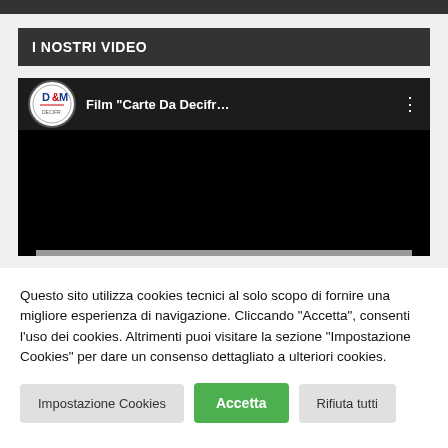[Figure (screenshot): Top dark bar at the top of the page]
I NOSTRI VIDEO
[Figure (screenshot): YouTube-style video player showing 'Film Carte Da Decifr...' with D&M logo in top bar, rest is black/dark]
Questo sito utilizza cookies tecnici al solo scopo di fornire una migliore esperienza di navigazione. Cliccando "Accetta", consenti l'uso dei cookies. Altrimenti puoi visitare la sezione "Impostazione Cookies" per dare un consenso dettagliato a ulteriori cookies.
Impostazione Cookies
Accetta
Rifiuta tutti